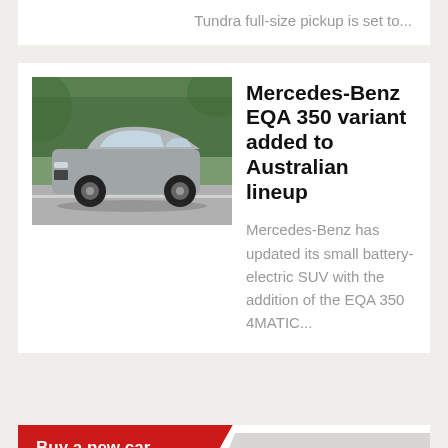Tundra full-size pickup is set to...
[Figure (photo): Mercedes-Benz EQA 350 electric SUV driving on a suburban road, photographed from the front-right angle]
Mercedes-Benz EQA 350 variant added to Australian lineup
Mercedes-Benz has updated its small battery-electric SUV with the addition of the EQA 350 4MATIC...
Buy a new car
ALAN YILDIZ SAVED
[Figure (logo): PERFORMANCE DRIVE logo in black and red italic text with border]